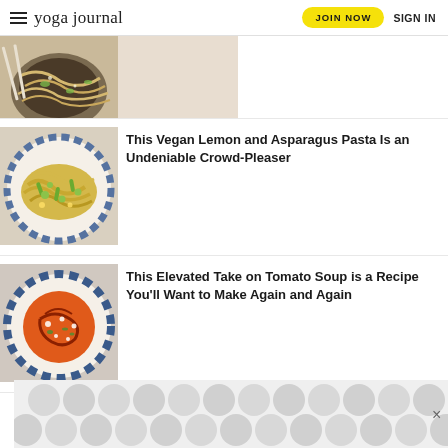yoga journal | JOIN NOW | SIGN IN
[Figure (photo): Partial view of a food dish (noodles/pasta) in a bowl, partially cropped at top]
[Figure (photo): Vegan lemon and asparagus pasta in a blue and white patterned bowl]
This Vegan Lemon and Asparagus Pasta Is an Undeniable Crowd-Pleaser
[Figure (photo): Tomato soup in a blue and white patterned bowl with garnishes]
This Elevated Take on Tomato Soup is a Recipe You’ll Want to Make Again and Again
[Figure (other): Advertisement banner with gray bubble/circle pattern]